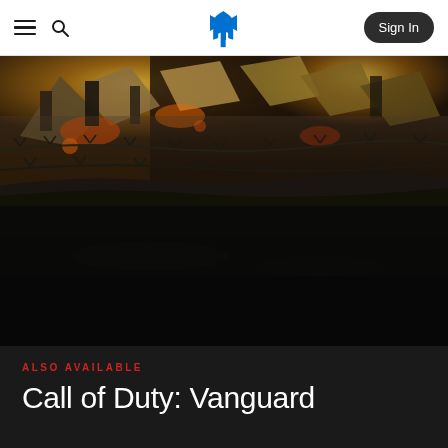PlayStation navigation bar with hamburger menu, search icon, PlayStation logo, and Sign In button
[Figure (photo): Call of Duty: Vanguard hero artwork showing a dramatic war scene with soldiers, explosions, fire, rubble, and barbed wire in a dark, gritty style. The lower half fades to a dark reflection/puddle.]
ALSO AVAILABLE
Call of Duty: Vanguard